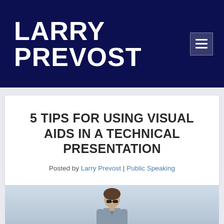LARRY PREVOST
5 TIPS FOR USING VISUAL AIDS IN A TECHNICAL PRESENTATION
Posted by Larry Prevost | Public Speaking
[Figure (photo): A man standing outdoors, photographed from the waist up against a light sky background]